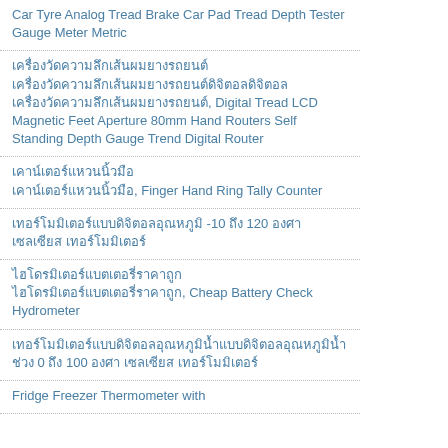Car Tyre Analog Tread Brake Car Pad Tread Depth Tester Gauge Meter Metric
เครื่องวัดความลึกเส้นผมยางรถยนต์, Digital Tread LCD Magnetic Feet Aperture 80mm Hand Routers Self Standing Depth Gauge Trend Digital Router
เคาน์เตอร์แหวนนิ้วมือ, Finger Hand Ring Tally Counter
เทอร์โมมิเตอร์แบบดิจิตอลอุณหภูมิ -10 ถึง 120 องศา เซลเซียส เทอร์โมมิเตอร์
ไฮโดรมิเตอร์แบตเตอรี่ราคาถูก, Cheap Battery Check Hydrometer
เทอร์โมมิเตอร์แบบดิจิตอลอุณหภูมิน้ำ ช่วง 0 ถึง 100 องศา เซลเซียส เทอร์โมมิเตอร์
Fridge Freezer Thermometer with